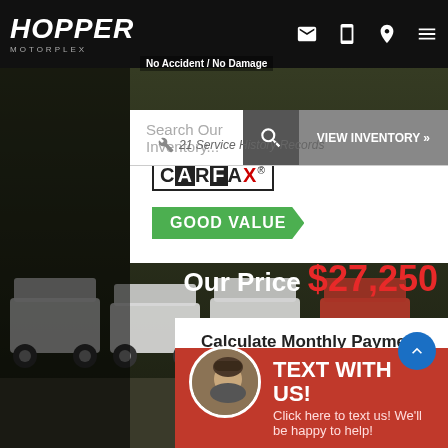HOPPER MOTORPLEX
No Accident / No Damage
Search Our Inventory...
21 Service History Records
VIEW INVENTORY »
[Figure (logo): CARFAX Show Me The Carfax - Good Value badge]
Our Price $27,250
Calculate Monthly Payment
How Does This Work?
Finance
TEXT WITH US! Click here to text us! We'll be happy to help!